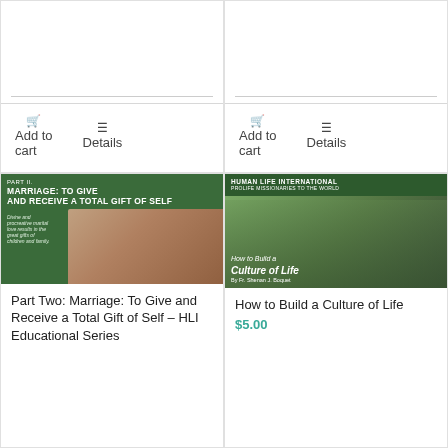[Figure (other): Top-left product card showing Add to cart and Details buttons with separator line above]
[Figure (other): Top-right product card showing Add to cart and Details buttons with separator line above]
[Figure (illustration): Book cover: Part Two: Marriage: To Give and Receive a Total Gift of Self – HLI Educational Series, green cover with baby photo]
Part Two: Marriage: To Give and Receive a Total Gift of Self – HLI Educational Series
[Figure (illustration): Book cover: How to Build a Culture of Life by Fr. Shenan J. Boquet, Human Life International, family photo on green background]
How to Build a Culture of Life
$5.00